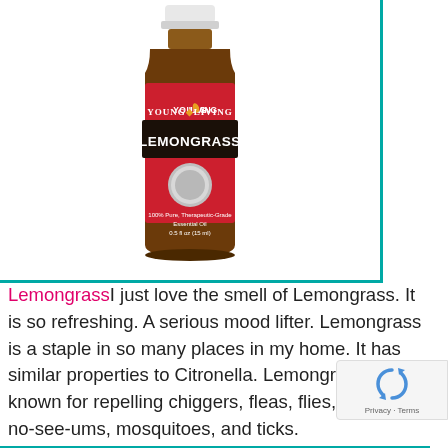[Figure (photo): Young Living Lemongrass essential oil bottle with red label, 0.5 fl oz (15 ml), 100% Pure Therapeutic-Grade Essential Oil]
Lemongrass I just love the smell of Lemongrass. It is so refreshing. A serious mood lifter. Lemongrass is a staple in so many places in my home. It has similar properties to Citronella. Lemongrass is known for repelling chiggers, fleas, flies, fruit flies, no-see-ums, mosquitoes, and ticks.